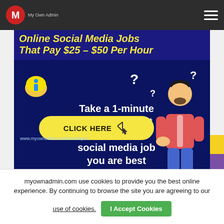My Own Admin
[Figure (infographic): Dark blue promotional banner for social media jobs. Yellow text headline partially visible: 'Online Social Media Jobs That Pay $25 - $50 Per Hour'. Body shows an info icon bubble, white bold text 'Take a 1-minute quiz to find out what type of social media job you are best suited to', a 3D cartoon man with question marks, a yellow 'CLICK HERE' button with cursor, and URL www.myownadmin.com/socialquiz]
myownadmin.com use cookies to provide you the best online experience. By continuing to browse the site you are agreeing to our use of cookies.
I Accept Cookies